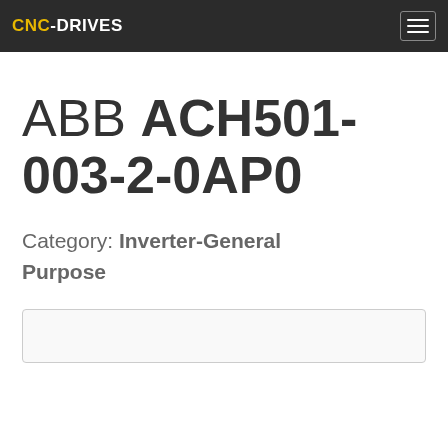CNC-DRIVES
ABB ACH501-003-2-0AP0
Category: Inverter-General Purpose